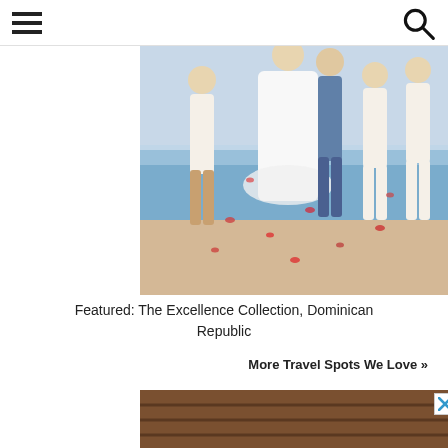[Figure (photo): Wedding party on a beach, people dressed in white with rose petals, bride in white gown]
Featured: The Excellence Collection, Dominican Republic
More Travel Spots We Love »
[Figure (photo): Couple at a gazebo wedding ceremony with tropical flowers, bride and groom facing each other]